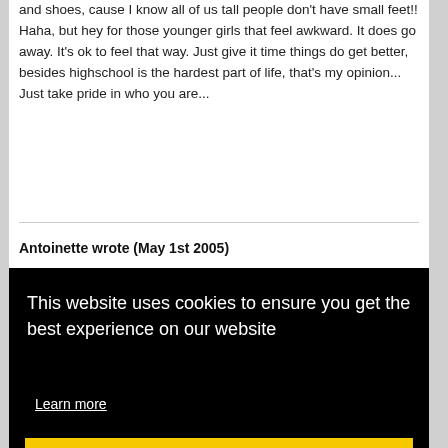and shoes, cause I know all of us tall people don't have small feet!! Haha, but hey for those younger girls that feel awkward. It does go away. It's ok to feel that way. Just give it time things do get better, besides highschool is the hardest part of life, that's my opinion... Just take pride in who you are...
Antoinette wrote (May 1st 2005)
You guys are really an inspiration to me. I am 5'10" and I hate my height. I am so tired of people and their rude comments about my height. I think I try to over do things because of my height. I won't go outside unless I have certain clothes on and I a... th... tr... te...
[Figure (other): Cookie consent overlay banner with black background. Text reads: 'This website uses cookies to ensure you get the best experience on our website'. A 'Learn more' link and a yellow 'Got it!' button are shown.]
Hannah wrote (April 27th 2005)